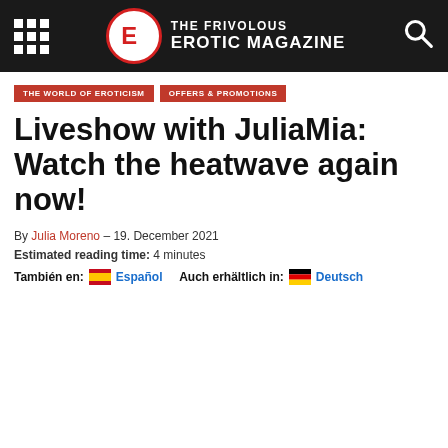THE FRIVOLOUS EROTIC MAGAZINE
THE WORLD OF EROTICISM
OFFERS & PROMOTIONS
Liveshow with JuliaMia: Watch the heatwave again now!
By Julia Moreno – 19. December 2021
Estimated reading time: 4 minutes
También en: Español   Auch erhältlich in: Deutsch